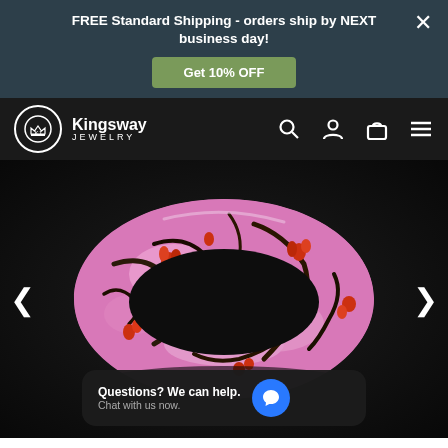FREE Standard Shipping - orders ship by NEXT business day!
Get 10% OFF
[Figure (logo): Kingsway Jewelry logo with crown icon in a circle]
Kingsway JEWELRY
[Figure (photo): Pink camo patterned silicone ring with floral and branch design on dark background]
Questions? We can help. Chat with us now.